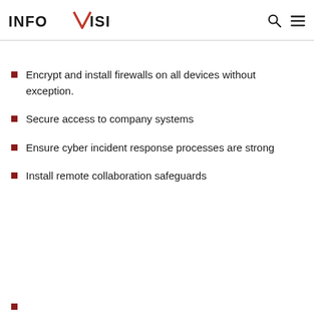InfoVision
Encrypt and install firewalls on all devices without exception.
Secure access to company systems
Ensure cyber incident response processes are strong
Install remote collaboration safeguards